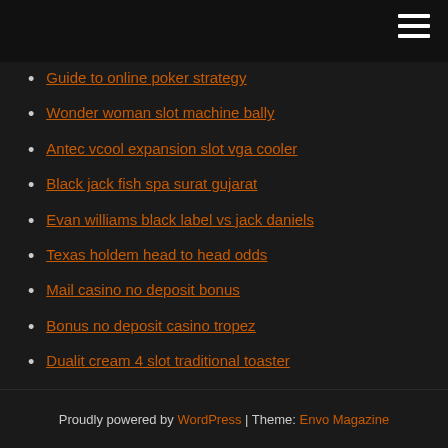Guide to online poker strategy
Wonder woman slot machine bally
Antec vcool expansion slot vga cooler
Black jack fish spa surat gujarat
Evan williams black label vs jack daniels
Texas holdem head to head odds
Mail casino no deposit bonus
Bonus no deposit casino tropez
Dualit cream 4 slot traditional toaster
Wheel of fortune 2nd edition pc game 29
Blue chip casino online check in
Proudly powered by WordPress | Theme: Envo Magazine